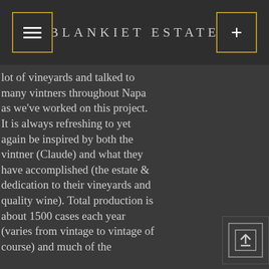BLANKIET ESTATE
lot of vineyards and talked to many vintners throughout Napa as we've worked on this project. It is always refreshing to yet again be inspired by both the vintner (Claude) and what they have accomplished (the estate & dedication to their vineyards and quality wine). Total production is about 1500 cases each year (varies from vintage to vintage of course) and much of the